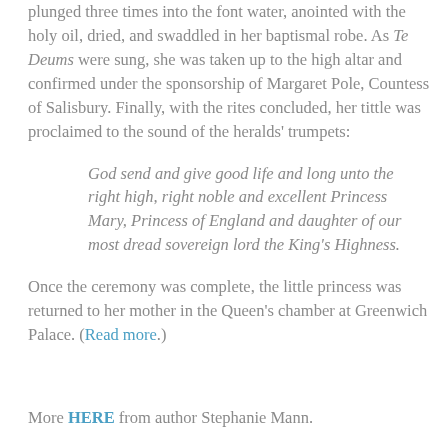plunged three times into the font water, anointed with the holy oil, dried, and swaddled in her baptismal robe. As Te Deums were sung, she was taken up to the high altar and confirmed under the sponsorship of Margaret Pole, Countess of Salisbury. Finally, with the rites concluded, her tittle was proclaimed to the sound of the heralds' trumpets:
God send and give good life and long unto the right high, right noble and excellent Princess Mary, Princess of England and daughter of our most dread sovereign lord the King's Highness.
Once the ceremony was complete, the little princess was returned to her mother in the Queen's chamber at Greenwich Palace. (Read more.)
More HERE from author Stephanie Mann.